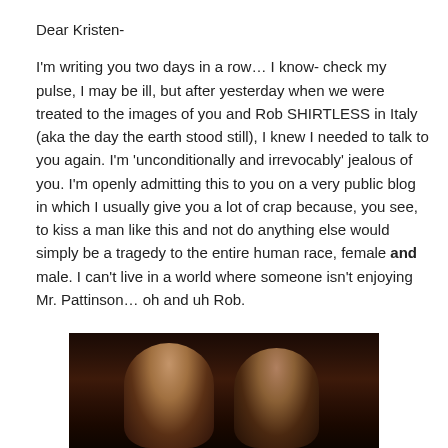Dear Kristen-

I'm writing you two days in a row… I know- check my pulse, I may be ill, but after yesterday when we were treated to the images of you and Rob SHIRTLESS in Italy (aka the day the earth stood still), I knew I needed to talk to you again. I'm 'unconditionally and irrevocably' jealous of you. I'm openly admitting this to you on a very public blog in which I usually give you a lot of crap because, you see, to kiss a man like this and not do anything else would simply be a tragedy to the entire human race, female and male. I can't live in a world where someone isn't enjoying Mr. Pattinson… oh and uh Rob.
[Figure (photo): A dark photograph showing two people kissing, partially visible from the waist up, dark background with warm amber/brown tones]